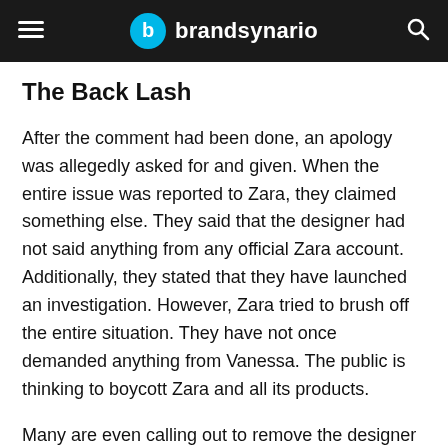brandsynario
The Back Lash
After the comment had been done, an apology was allegedly asked for and given. When the entire issue was reported to Zara, they claimed something else. They said that the designer had not said anything from any official Zara account.  Additionally, they stated that they have launched an investigation. However, Zara tried to brush off the entire situation. They have not once demanded anything from Vanessa. The public is thinking to boycott Zara and all its products.
Many are even calling out to remove the designer from the lead designation. It seems that Vanessa deleted her Instagram account after everything that unfolded. The comments are insensitive. We think they should not be